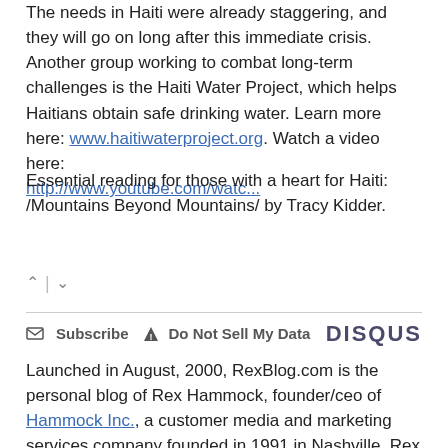The needs in Haiti were already staggering, and they will go on long after this immediate crisis. Another group working to combat long-term challenges is the Haiti Water Project, which helps Haitians obtain safe drinking water. Learn more here: www.haitiwaterproject.org. Watch a video here: http://www.youtube.com/watc...
Essential reading for those with a heart for Haiti: /Mountains Beyond Mountains/ by Tracy Kidder.
Launched in August, 2000, RexBlog.com is the personal blog of Rex Hammock, founder/ceo of Hammock Inc., a customer media and marketing services company founded in 1991 in Nashville. Rex is also founder/helper-in-chief of SmallBusiness.com. (...)
Chief Executive Magazine: Top Ten CEO Blogs